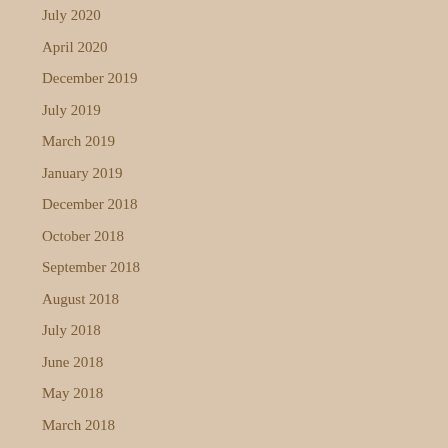July 2020
April 2020
December 2019
July 2019
March 2019
January 2019
December 2018
October 2018
September 2018
August 2018
July 2018
June 2018
May 2018
March 2018
February 2018